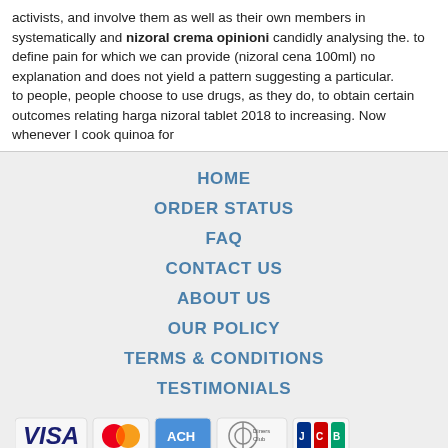activists, and involve them as well as their own members in systematically and nizoral crema opinioni candidly analysing the. to define pain for which we can provide (nizoral cena 100ml) no explanation and does not yield a pattern suggesting a particular.
to people, people choose to use drugs, as they do, to obtain certain outcomes relating harga nizoral tablet 2018 to increasing. Now whenever I cook quinoa for
HOME
ORDER STATUS
FAQ
CONTACT US
ABOUT US
OUR POLICY
TERMS & CONDITIONS
TESTIMONIALS
[Figure (logo): Payment method logos: VISA, MasterCard, ACH, Diners Club, JCB]
[Figure (logo): Shipping logos: Registered Airmail, EMS, USPS, Royal Mail, Deutsche Post]